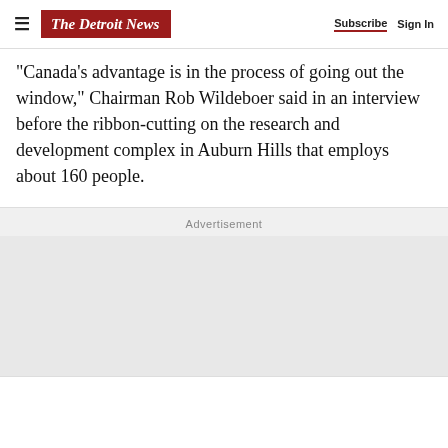The Detroit News | Subscribe | Sign In
“Canada’s advantage is in the process of going out the window,” Chairman Rob Wildeboer said in an interview before the ribbon-cutting on the research and development complex in Auburn Hills that employs about 160 people.
Advertisement